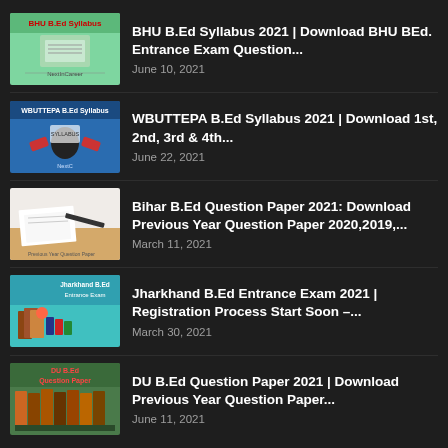[Figure (illustration): BHU B.Ed Syllabus thumbnail – green background with book and text 'BHU B.Ed Syllabus', NextInCareer branding]
BHU B.Ed Syllabus 2021 | Download BHU BEd. Entrance Exam Question...
June 10, 2021
[Figure (illustration): WBUTTEPA B.Ed Syllabus thumbnail – blue background with silhouette and text 'WBUTTEPA B.Ed Syllabus']
WBUTTEPA B.Ed Syllabus 2021 | Download 1st, 2nd, 3rd & 4th...
June 22, 2021
[Figure (illustration): Bihar B.Ed Question Paper thumbnail – white background with pencil and paper]
Bihar B.Ed Question Paper 2021: Download Previous Year Question Paper 2020,2019,...
March 11, 2021
[Figure (illustration): Jharkhand B.Ed Entrance Exam thumbnail – teal background with books and apple]
Jharkhand B.Ed Entrance Exam 2021 | Registration Process Start Soon –...
March 30, 2021
[Figure (illustration): DU B.Ed Question Paper thumbnail – green background with books and text 'DU B.Ed Question Paper']
DU B.Ed Question Paper 2021 | Download Previous Year Question Paper...
June 11, 2021